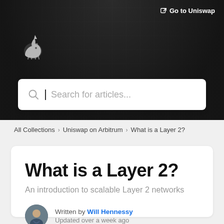[Figure (screenshot): Uniswap help center page header with dark background, grid pattern, unicorn logo, search bar, and article content for 'What is a Layer 2?']
Go to Uniswap
All Collections > Uniswap on Arbitrum > What is a Layer 2?
What is a Layer 2?
An introduction to scalable Layer 2 networks
Written by Will Hennessy
Updated over a week ago